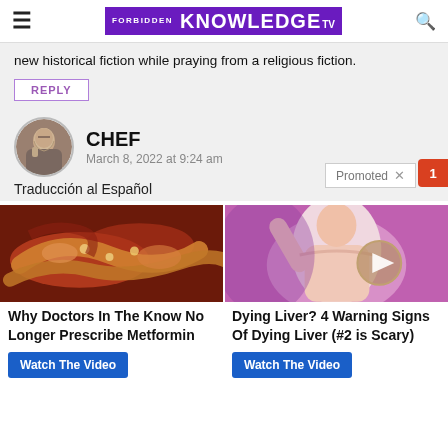FORBIDDEN KNOWLEDGE TV
new historical fiction while praying from a religious fiction.
REPLY
CHEF
March 8, 2022 at 9:24 am
Traducción al Español
[Figure (photo): Thumbnail image of internal organs]
[Figure (photo): Illustration of person with arm raised, purple background, video play button overlay]
Why Doctors In The Know No Longer Prescribe Metformin
Watch The Video
Dying Liver? 4 Warning Signs Of Dying Liver (#2 is Scary)
Watch The Video